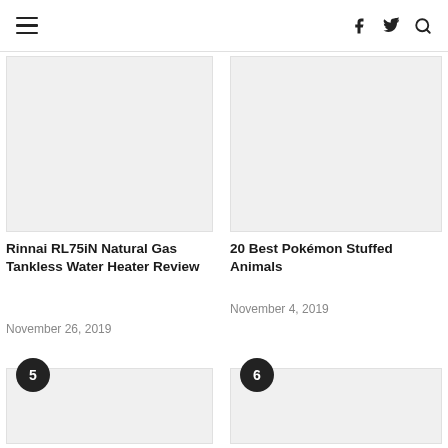≡ f 𝕿 🔍
[Figure (photo): Placeholder image for article 4 left column]
Rinnai RL75iN Natural Gas Tankless Water Heater Review
November 26, 2019
[Figure (photo): Placeholder image for article 4 right column]
20 Best Pokémon Stuffed Animals
November 4, 2019
[Figure (photo): Placeholder image for article 5 left column with badge number 5]
[Figure (photo): Placeholder image for article 6 right column with badge number 6]